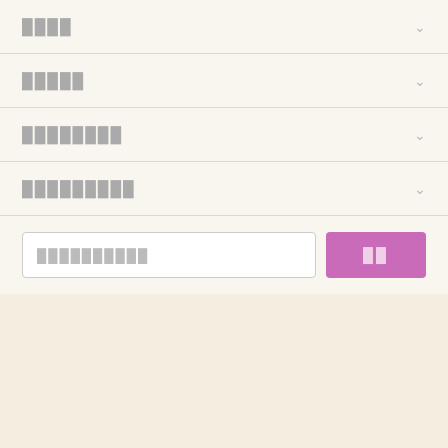████
█████
████████
█████████
██████████  ██